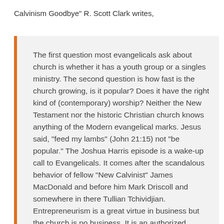Calvinism Goodbye" R. Scott Clark writes,
The first question most evangelicals ask about church is whether it has a youth group or a singles ministry. The second question is how fast is the church growing, is it popular? Does it have the right kind of (contemporary) worship? Neither the New Testament nor the historic Christian church knows anything of the Modern evangelical marks. Jesus said, “feed my lambs” (John 21:15) not “be popular.” The Joshua Harris episode is a wake-up call to Evangelicals. It comes after the scandalous behavior of fellow “New Calvinist” James MacDonald and before him Mark Driscoll and somewhere in there Tullian Tchividjian. Entrepreneurism is a great virtue in business but the church is no business. It is an authorized